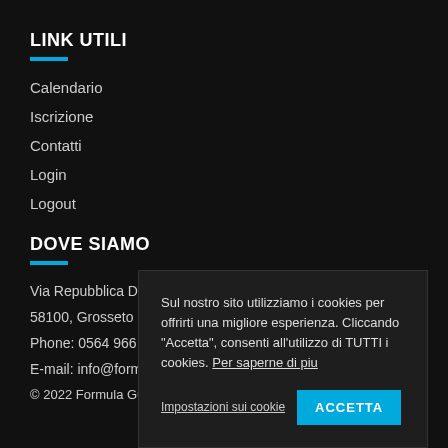LINK UTILI
Calendario
Iscrizione
Contatti
Login
Logout
DOVE SIAMO
Via Repubblica Dom...
58100, Grosseto (GR...
Phone: 0564 966 346...
E-mail: info@formula...
© 2022 Formula Guida Sicura
Sul nostro sito utilizziamo i cookies per offrirti una migliore esperienza. Cliccando "Accetta", consenti all'utilizzo di TUTTI i cookies. Per saperne di piu
Impostazioni sui cookie
ACCETTA